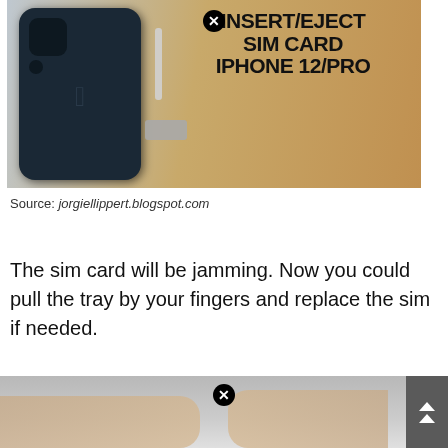[Figure (photo): Thumbnail image showing iPhone 12 from the back alongside SIM card tray and ejector tool, with overlaid bold text reading INSERT/EJECT SIM CARD iPHONE 12/PRO on a beige background. A close/X button circle is visible at the top center.]
Source: jorgiellippert.blogspot.com
The sim card will be jamming. Now you could pull the tray by your fingers and replace the sim if needed.
[Figure (photo): Partial bottom image showing hands pulling a SIM card tray from an iPhone, with a close/X button circle visible at the top center. A dark scroll-up arrow button box is visible at the bottom right.]